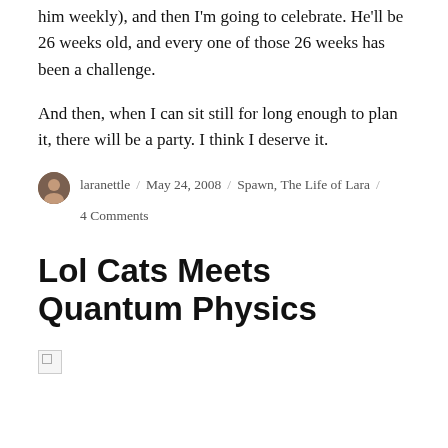him weekly), and then I'm going to celebrate. He'll be 26 weeks old, and every one of those 26 weeks has been a challenge.
And then, when I can sit still for long enough to plan it, there will be a party. I think I deserve it.
laranettle / May 24, 2008 / Spawn, The Life of Lara / 4 Comments
Lol Cats Meets Quantum Physics
[Figure (photo): Broken/missing image placeholder at bottom of page]